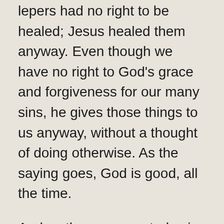lepers had no right to be healed; Jesus healed them anyway.  Even though we have no right to God's grace and forgiveness for our many sins, he gives those things to us anyway, without a thought of doing otherwise.  As the saying goes, God is good, all the time.
And so the message today is that we have to decidedly leave behind our sinful attitudes of entitlement and embrace an attitude of gratitude.  And honestly, I think that can make us happier people.  Grateful people live differently.  Grateful people look for the blessing in every moment, they hunt for the